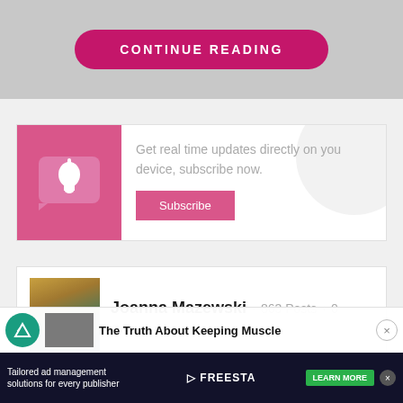[Figure (screenshot): Top gray background section with Continue Reading pink button]
CONTINUE READING
Get real time updates directly on you device, subscribe now.
Subscribe
Joanna Mazewski · 863 Posts · 0 Comments
The Truth About Keeping Muscle
Tailored ad management solutions for every publisher